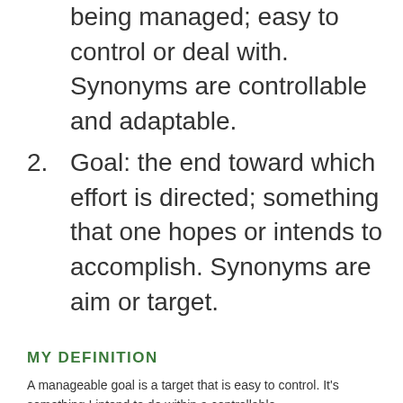being managed; easy to control or deal with. Synonyms are controllable and adaptable.
2. Goal: the end toward which effort is directed; something that one hopes or intends to accomplish. Synonyms are aim or target.
MY DEFINITION
A manageable goal is a target that is easy to control. It's something I intend to do within a controllable